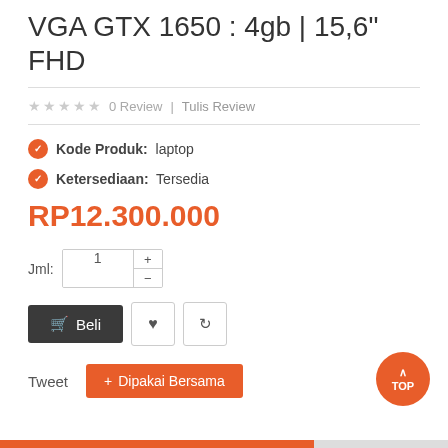VGA GTX 1650 : 4gb | 15,6" FHD
0 Review | Tulis Review
Kode Produk: laptop
Ketersediaan: Tersedia
RP12.300.000
Jml: 1
Beli
Tweet   Dipakai Bersama
TOP